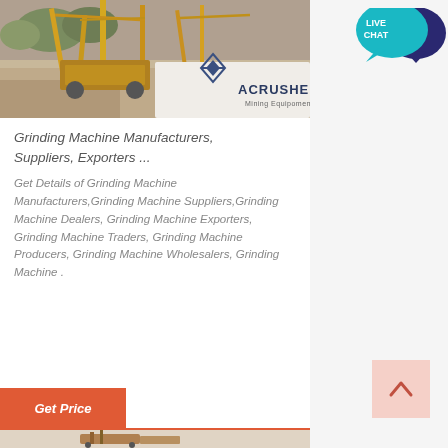[Figure (photo): Mining/quarry site with large yellow industrial machinery and crane equipment, gravel piles. Overlaid with ACRUSHER Mining Equipment logo and branding.]
Grinding Machine Manufacturers, Suppliers, Exporters ...
Get Details of Grinding Machine Manufacturers,Grinding Machine Suppliers,Grinding Machine Dealers, Grinding Machine Exporters, Grinding Machine Traders, Grinding Machine Producers, Grinding Machine Wholesalers, Grinding Machine .
[Figure (other): Orange 'Get Price' button]
[Figure (photo): Bottom strip showing industrial mining/crushing machine equipment]
[Figure (other): LIVE CHAT speech bubble icon in teal and dark navy blue]
[Figure (other): Scroll to top button - light pink/salmon square with upward chevron arrow]